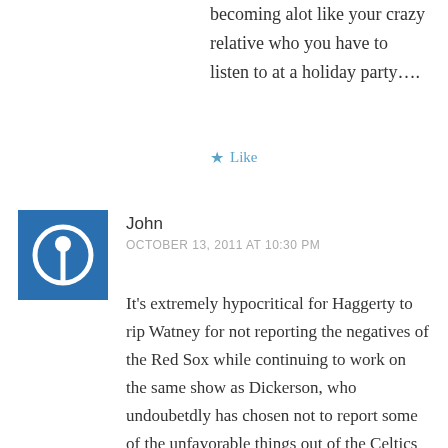becoming alot like your crazy relative who you have to listen to at a holiday party….
★ Like
John
OCTOBER 13, 2011 AT 10:30 PM
It's extremely hypocritical for Haggerty to rip Watney for not reporting the negatives of the Red Sox while continuing to work on the same show as Dickerson, who undoubetdly has chosen not to report some of the unfavorable things out of the Celtics locker room that he probably